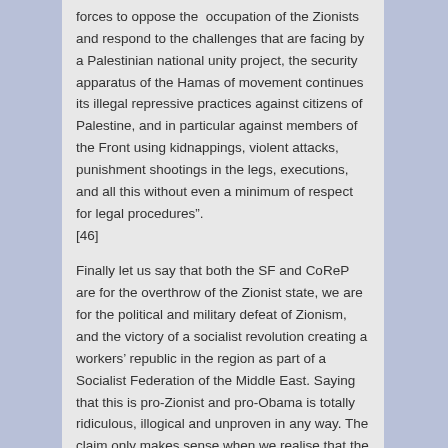forces to oppose the occupation of the Zionists and respond to the challenges that are facing by a Palestinian national unity project, the security apparatus of the Hamas of movement continues its illegal repressive practices against citizens of Palestine, and in particular against members of the Front using kidnappings, violent attacks, punishment shootings in the legs, executions, and all this without even a minimum of respect for legal procedures". [46]
Finally let us say that both the SF and CoReP are for the overthrow of the Zionist state, we are for the political and military defeat of Zionism, and the victory of a socialist revolution creating a workers' republic in the region as part of a Socialist Federation of the Middle East. Saying that this is pro-Zionist and pro-Obama is totally ridiculous, illogical and unproven in any way. The claim only makes sense when we realise that the LOL is for the destruction of